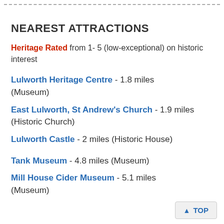NEAREST ATTRACTIONS
Heritage Rated from 1- 5 (low-exceptional) on historic interest
Lulworth Heritage Centre - 1.8 miles (Museum)
East Lulworth, St Andrew's Church - 1.9 miles (Historic Church)
Lulworth Castle - 2 miles (Historic House)
Tank Museum - 4.8 miles (Museum)
Mill House Cider Museum - 5.1 miles (Museum)